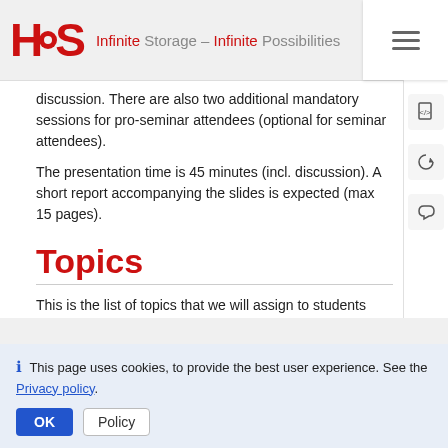HPS — Infinite Storage – Infinite Possibilities
discussion. There are also two additional mandatory sessions for pro-seminar attendees (optional for seminar attendees).
The presentation time is 45 minutes (incl. discussion). A short report accompanying the slides is expected (max 15 pages).
Topics
This is the list of topics that we will assign to students
This page uses cookies, to provide the best user experience. See the Privacy policy.